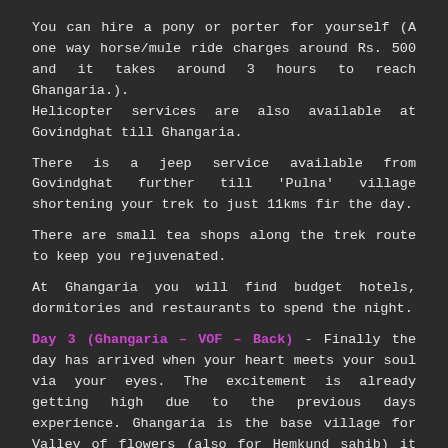You can hire a pony or porter for yourself (A one way horse/mule ride charges around Rs. 500 and it takes around 3 hours to reach Ghangaria.). Helicopter services are also available at Govindghat till Ghangaria.
There is a jeep service available from Govindghat further till 'Pulna' village shortening your trek to just 11kms fir the day.
There are small tea shops along the trek route to keep you rejuvenated.
At Ghangaria you will find budget hotels, dormitories and restaurants to spend the night.
Day 3 (Ghangaria – VOF – Back) - Finally the day has arrived when your heart meets your soul via your eyes. The excitement is already getting high due to the previous days experience. Ghangaria is the base village for Valley of flowers (also for Hemkund sahib) it takes an average of 3 hrs to reach to this spot. Once you reach the place, the area is big enough for you to explore, depending on your